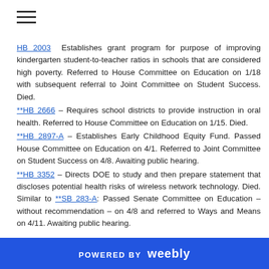HB 2003 – Establishes grant program for purpose of improving kindergarten student-to-teacher ratios in schools that are considered high poverty. Referred to House Committee on Education on 1/18 with subsequent referral to Joint Committee on Student Success. Died.
**HB 2666 – Requires school districts to provide instruction in oral health. Referred to House Committee on Education on 1/15. Died.
**HB 2897-A – Establishes Early Childhood Equity Fund. Passed House Committee on Education on 4/1. Referred to Joint Committee on Student Success on 4/8. Awaiting public hearing.
**HB 3352 – Directs DOE to study and then prepare statement that discloses potential health risks of wireless network technology. Died. Similar to **SB 283-A: Passed Senate Committee on Education – without recommendation – on 4/8 and referred to Ways and Means on 4/11. Awaiting public hearing.
**HB 3357 – Allows dependent care income tax credit to be claimed for expenses to allow taxpayer or spouse to attend school as enrolled
POWERED BY weebly